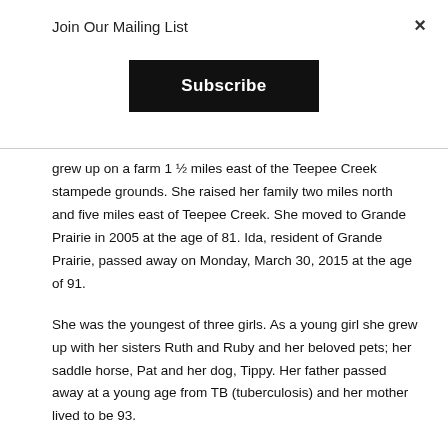Join Our Mailing List
×
Subscribe
grew up on a farm 1 ½ miles east of the Teepee Creek stampede grounds. She raised her family two miles north and five miles east of Teepee Creek. She moved to Grande Prairie in 2005 at the age of 81. Ida, resident of Grande Prairie, passed away on Monday, March 30, 2015 at the age of 91.
She was the youngest of three girls. As a young girl she grew up with her sisters Ruth and Ruby and her beloved pets; her saddle horse, Pat and her dog, Tippy. Her father passed away at a young age from TB (tuberculosis) and her mother lived to be 93.